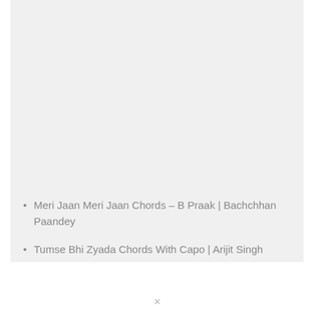[Figure (other): Large light gray rectangular area occupying the upper portion of the page]
Meri Jaan Meri Jaan Chords – B Praak | Bachchhan Paandey
Tumse Bhi Zyada Chords With Capo | Arijit Singh